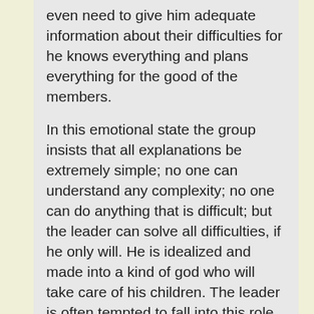even need to give him adequate information about their difficulties for he knows everything and plans everything for the good of the members.
In this emotional state the group insists that all explanations be extremely simple; no one can understand any complexity; no one can do anything that is difficult; but the leader can solve all difficulties, if he only will. He is idealized and made into a kind of god who will take care of his children. The leader is often tempted to fall into this role and to go along with the basic assumption of the group. But since no one really can fill this role and since anyone who is